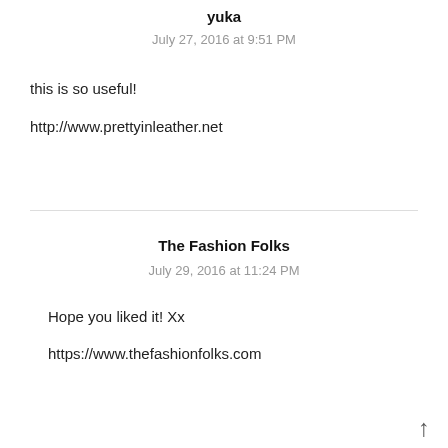yuka
July 27, 2016 at 9:51 PM
this is so useful!
http://www.prettyinleather.net
The Fashion Folks
July 29, 2016 at 11:24 PM
Hope you liked it! Xx
https://www.thefashionfolks.com